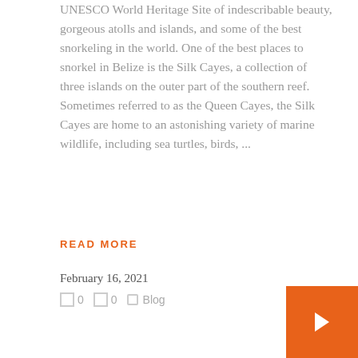UNESCO World Heritage Site of indescribable beauty, gorgeous atolls and islands, and some of the best snorkeling in the world. One of the best places to snorkel in Belize is the Silk Cayes, a collection of three islands on the outer part of the southern reef. Sometimes referred to as the Queen Cayes, the Silk Cayes are home to an astonishing variety of marine wildlife, including sea turtles, birds, ...
READ MORE
February 16, 2021
0   0   Blog